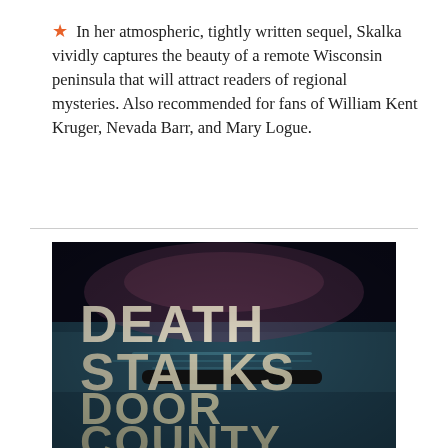★ In her atmospheric, tightly written sequel, Skalka vividly captures the beauty of a remote Wisconsin peninsula that will attract readers of regional mysteries. Also recommended for fans of William Kent Kruger, Nevada Barr, and Mary Logue.
[Figure (photo): Book cover of 'Death Stalks Door County' showing large white/cream bold text on a dark atmospheric background with moody blue-green tones and what appears to be a dark landscape or water scene.]